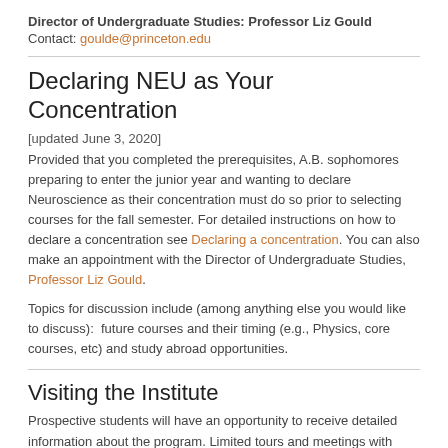Director of Undergraduate Studies: Professor Liz Gould
Contact: goulde@princeton.edu
Declaring NEU as Your Concentration
[updated June 3, 2020]
Provided that you completed the prerequisites, A.B. sophomores preparing to enter the junior year and wanting to declare Neuroscience as their concentration must do so prior to selecting courses for the fall semester. For detailed instructions on how to declare a concentration see Declaring a concentration. You can also make an appointment with the Director of Undergraduate Studies, Professor Liz Gould.
Topics for discussion include (among anything else you would like to discuss):  future courses and their timing (e.g., Physics, core courses, etc) and study abroad opportunities.
Visiting the Institute
Prospective students will have an opportunity to receive detailed information about the program. Limited tours and meetings with students/faculty must be arranged in advance.